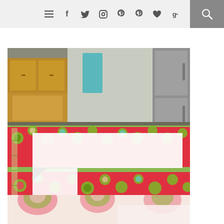will go in between the other fabric strips measuring 3 inches wide. Again, you can use this middle fabric if you would like.
Navigation bar with menu, social media icons, and search
[Figure (photo): A crafting/sewing workspace photo showing colorful floral fabric (red, green, teal/blue flower pattern) laid out on a green cutting mat on a kitchen counter, with white batting/interfacing strips placed on top. Kitchen cabinets and a stainless steel refrigerator are visible in the background.]